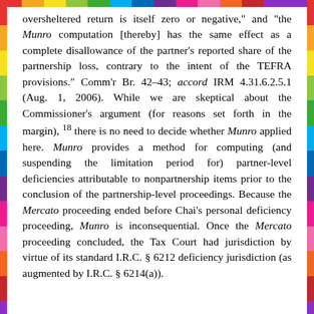oversheltered return is itself zero or negative," and "the Munro computation [thereby] has the same effect as a complete disallowance of the partner's reported share of the partnership loss, contrary to the intent of the TEFRA provisions." Comm'r Br. 42–43; accord IRM 4.31.6.2.5.1 (Aug. 1, 2006). While we are skeptical about the Commissioner's argument (for reasons set forth in the margin), 18 there is no need to decide whether Munro applied here. Munro provides a method for computing (and suspending the limitation period for) partner-level deficiencies attributable to nonpartnership items prior to the conclusion of the partnership-level proceedings. Because the Mercato proceeding ended before Chai's personal deficiency proceeding, Munro is inconsequential. Once the Mercato proceeding concluded, the Tax Court had jurisdiction by virtue of its standard I.R.C. § 6212 deficiency jurisdiction (as augmented by I.R.C. § 6214(a)).